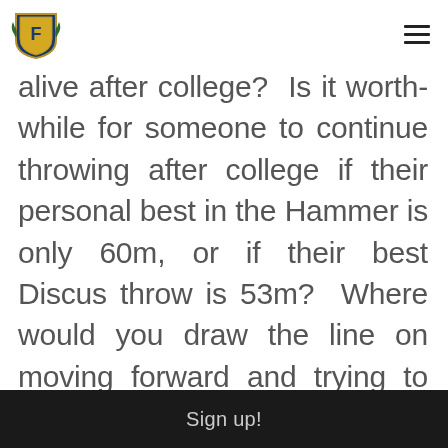[Logo: F shield crest] [hamburger menu]
alive after college?  Is it worth-while for someone to continue throwing after college if their personal best in the Hammer is only 60m, or if their best Discus throw is 53m?  Where would you draw the line on moving forward and trying to achieve your throwing dream?
Sign up!